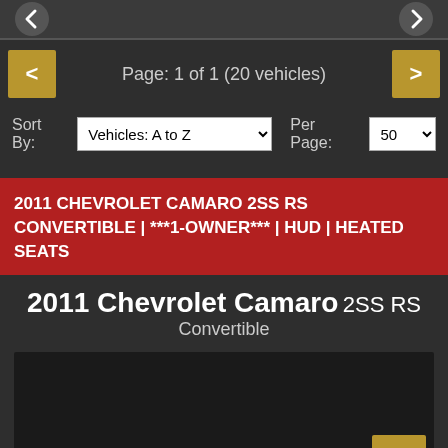[Figure (screenshot): Top grey bar with partial navigation arrows visible]
Page: 1 of 1 (20 vehicles)
Sort By: Vehicles: A to Z   Per Page: 50
2011 CHEVROLET CAMARO 2SS RS CONVERTIBLE | ***1-OWNER*** | HUD | HEATED SEATS
2011 Chevrolet Camaro 2SS RS Convertible
[Figure (photo): Vehicle image placeholder - dark background]
Text Us